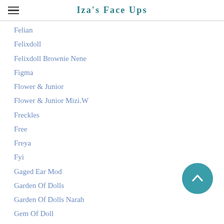Iza's Face Ups
Felian
Felixdoll
Felixdoll Brownie Nene
Figma
Flower & Junior
Flower & Junior Mizi.W
Freckles
Free
Freya
Fyi
Gaged Ear Mod
Garden Of Dolls
Garden Of Dolls Narah
Gem Of Doll
Gem Of Doll Capricorn
Gem Of Doll Capricorn Horns
Glam
Goldie Toko Boku Mandii…